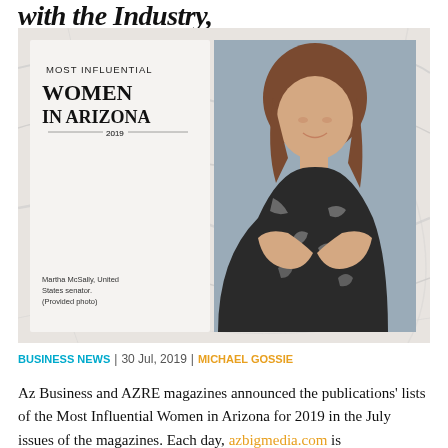with the Industry,
[Figure (photo): Magazine cover composite: Left panel shows 'Most Influential Women in Arizona 2019' text with event description and caption 'Martha McSally, United States senator. (Provided photo)'. Right panel shows a professional photo of Martha McSally, a woman with brown hair wearing a patterned dress with arms crossed, against a gray background. Background is marble texture.]
BUSINESS NEWS | 30 Jul, 2019 | MICHAEL GOSSIE
Az Business and AZRE magazines announced the publications' lists of the Most Influential Women in Arizona for 2019 in the July issues of the magazines. Each day, azbigmedia.com is